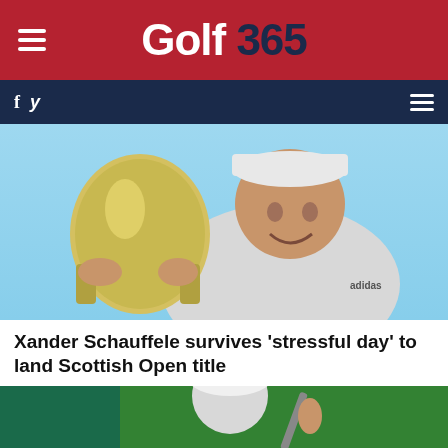Golf 365
[Figure (photo): Xander Schauffele holding a large silver trophy aloft, smiling, wearing a white Adidas polo shirt and grey cap, against a blue sky background]
Xander Schauffele survives 'stressful day' to land Scottish Open title
[Figure (photo): Golfer wearing a white Workday cap and holding a golf club, against a green background]